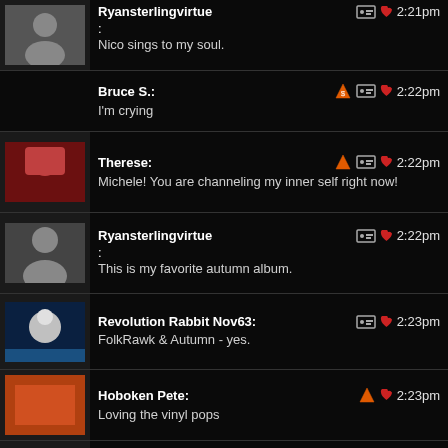Ryansterlingvirtue: | 2:21pm
:
Nico sings to my soul.
Bruce S.: | 2:22pm
I'm crying
Therese: | 2:22pm
Michele! You are channeling my inner self right now!
Ryansterlingvirtue | 2:22pm
:
This is my favorite autumn album.
Revolution Rabbit Nov63: | 2:23pm
FolkRawk & Autumn - yes.
Hoboken Pete: | 2:23pm
Loving the vinyl pops
Revolution Rabbit Nov63: | 2:24pm
...somehow Nico singing Jackson Browne is perfect for the conversation too...
Kakunka: | 2:24pm